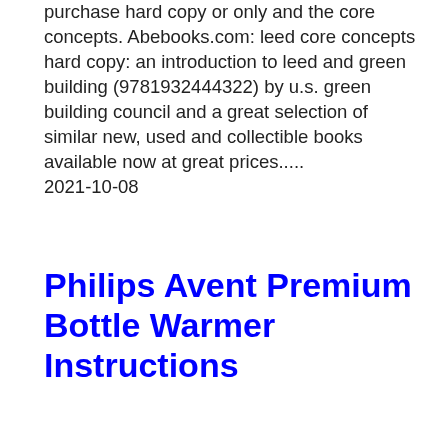purchase hard copy or only and the core concepts. Abebooks.com: leed core concepts hard copy: an introduction to leed and green building (9781932444322) by u.s. green building council and a great selection of similar new, used and collectible books available now at great prices..... 2021-10-08
Philips Avent Premium Bottle Warmer Instructions